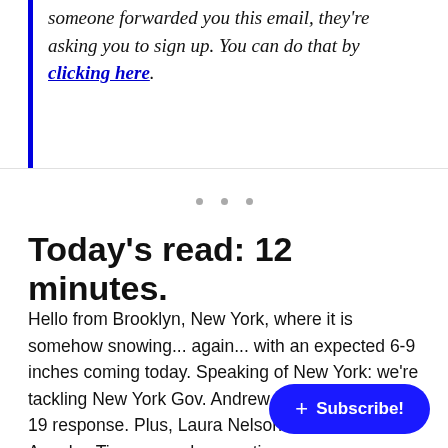someone forwarded you this email, they're asking you to sign up. You can do that by clicking here.
Today's read: 12 minutes.
Hello from Brooklyn, New York, where it is somehow snowing... again... with an expected 6-9 inches coming today. Speaking of New York: we're tackling New York Gov. Andrew Cuomo's COVID-19 response. Plus, Laura Nelson from The Los Angeles Times [Subscribe!] a reader question.